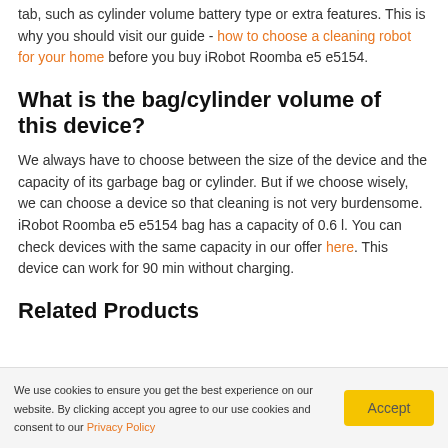tab, such as cylinder volume battery type or extra features. This is why you should visit our guide - how to choose a cleaning robot for your home before you buy iRobot Roomba e5 e5154.
What is the bag/cylinder volume of this device?
We always have to choose between the size of the device and the capacity of its garbage bag or cylinder. But if we choose wisely, we can choose a device so that cleaning is not very burdensome. iRobot Roomba e5 e5154 bag has a capacity of 0.6 l. You can check devices with the same capacity in our offer here. This device can work for 90 min without charging.
Related Products
We use cookies to ensure you get the best experience on our website. By clicking accept you agree to our use cookies and consent to our Privacy Policy